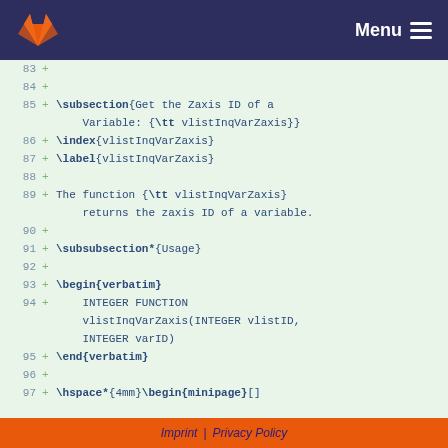GitLab — Menu
83 +
84 +
85 + \subsection{Get the Zaxis ID of a Variable: {\tt vlistInqVarZaxis}}
86 + \index{vlistInqVarZaxis}
87 + \label{vlistInqVarZaxis}
88 +
89 + The function {\tt vlistInqVarZaxis} returns the zaxis ID of a variable.
90 +
91 + \subsubsection*{Usage}
92 +
93 + \begin{verbatim}
94 +     INTEGER FUNCTION vlistInqVarZaxis(INTEGER vlistID, INTEGER varID)
95 + \end{verbatim}
96 +
97 + \hspace*{4mm}\begin{minipage}[]
Imprint | Privacy Policy